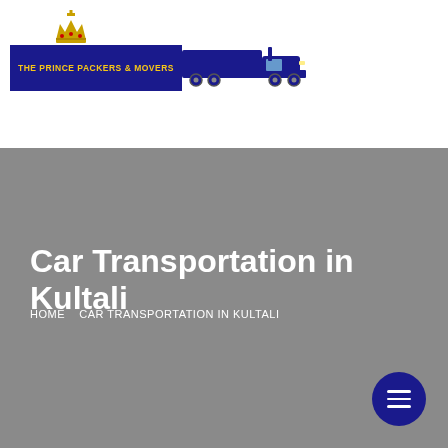[Figure (logo): The Prince Packers & Movers logo with golden crown above dark blue banner with truck illustration]
Car Transportation in Kultali
HOME   CAR TRANSPORTATION IN KULTALI